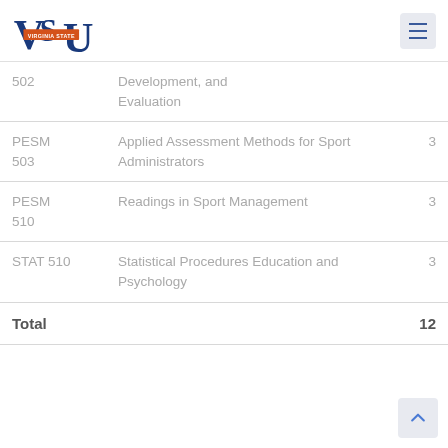Virginia State University
| Code | Course Name | Credits |
| --- | --- | --- |
| 502 | Development, and Evaluation |  |
| PESM 503 | Applied Assessment Methods for Sport Administrators | 3 |
| PESM 510 | Readings in Sport Management | 3 |
| STAT 510 | Statistical Procedures Education and Psychology | 3 |
| Total |  | 12 |